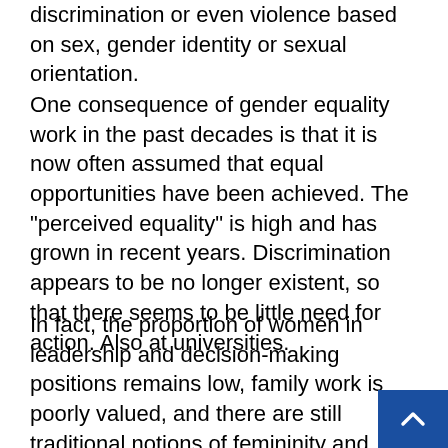discrimination or even violence based on sex, gender identity or sexual orientation.
One consequence of gender equality work in the past decades is that it is now often assumed that equal opportunities have been achieved. The "perceived equality" is high and has grown in recent years. Discrimination appears to be no longer existent, so that there seems to be little need for action. Also at universities.
In fact, the proportion of women in leadership and decision-making positions remains low, family work is poorly valued, and there are still traditional notions of femininity and masculinity. Party posters show half-naked women. Career coaches recommend not to show homosexuality in job interviews, if possible, in order not t